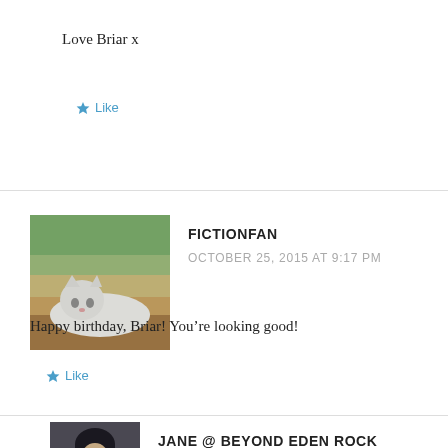Love Briar x
★ Like
[Figure (photo): Avatar photo of a white/grey cat sitting on a windowsill]
FICTIONFAN
OCTOBER 25, 2015 AT 9:17 PM
Happy birthday, Briar! You're looking good!
★ Like
[Figure (photo): Avatar photo of a person with dark hair]
JANE @ BEYOND EDEN ROCK